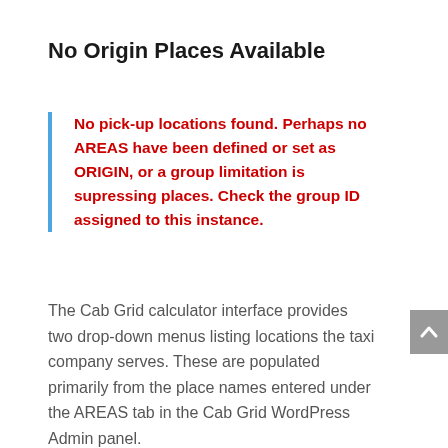No Origin Places Available
No pick-up locations found. Perhaps no AREAS have been defined or set as ORIGIN, or a group limitation is supressing places. Check the group ID assigned to this instance.
The Cab Grid calculator interface provides two drop-down menus listing locations the taxi company serves. These are populated primarily from the place names entered under the AREAS tab in the Cab Grid WordPress Admin panel.